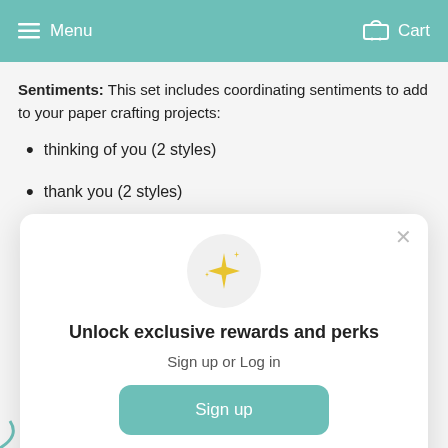Menu  Cart
Sentiments: This set includes coordinating sentiments to add to your paper crafting projects:
thinking of you (2 styles)
thank you (2 styles)
[Figure (illustration): Modal dialog with sparkle icon, title 'Unlock exclusive rewards and perks', sign up or log in prompt, Sign up button, and 'Already have an account? Sign in' footer text.]
Unlock exclusive rewards and perks
Sign up or Log in
Sign up
Already have an account? Sign in